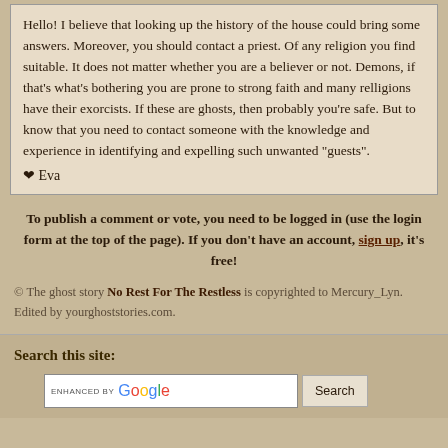Hello! I believe that looking up the history of the house could bring some answers. Moreover, you should contact a priest. Of any religion you find suitable. It does not matter whether you are a believer or not. Demons, if that's what's bothering you are prone to strong faith and many relligions have their exorcists. If these are ghosts, then probably you're safe. But to know that you need to contact someone with the knowledge and experience in identifying and expelling such unwanted "guests". ❤ Eva
To publish a comment or vote, you need to be logged in (use the login form at the top of the page). If you don't have an account, sign up, it's free!
© The ghost story No Rest For The Restless is copyrighted to Mercury_Lyn. Edited by yourghoststories.com.
Search this site:
[Figure (other): Google custom search bar with 'ENHANCED BY Google' logo and a Search button]